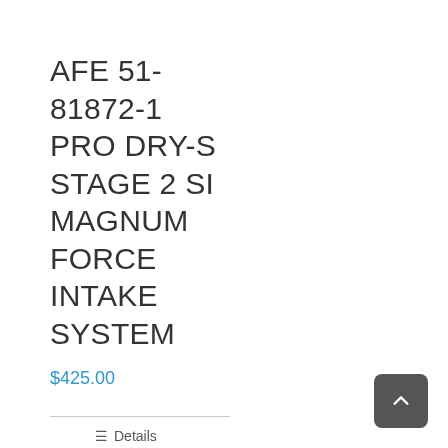AFE 51-81872-1 PRO DRY-S STAGE 2 SI MAGNUM FORCE INTAKE SYSTEM
$425.00
Details